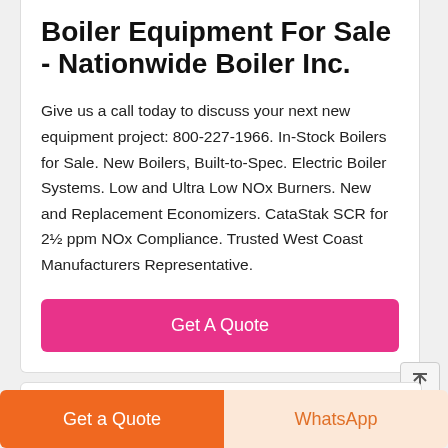Boiler Equipment For Sale - Nationwide Boiler Inc.
Give us a call today to discuss your next new equipment project: 800-227-1966. In-Stock Boilers for Sale. New Boilers, Built-to-Spec. Electric Boiler Systems. Low and Ultra Low NOx Burners. New and Replacement Economizers. CataStak SCR for 2½ ppm NOx Compliance. Trusted West Coast Manufacturers Representative.
[Figure (other): Pink 'Get A Quote' button]
[Figure (other): Partially visible product images at bottom of card]
[Figure (other): Orange 'Get a Quote' button and peach 'WhatsApp' button at bottom of page]